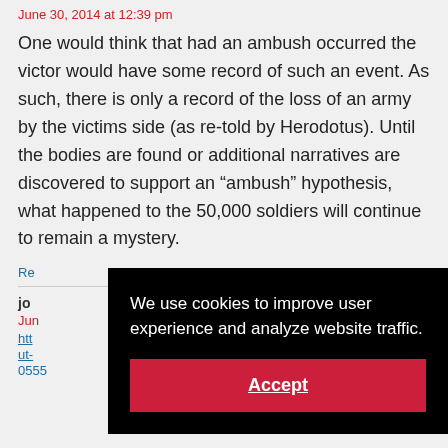June 30, 2014 at 12:39 pm
One would think that had an ambush occurred the victor would have some record of such an event. As such, there is only a record of the loss of an army by the victims side (as re-told by Herodotus). Until the bodies are found or additional narratives are discovered to support an “ambush” hypothesis, what happened to the 50,000 soldiers will continue to remain a mystery.
Re
jo
Jun
htt
ut-
0555
We use cookies to improve user experience and analyze website traffic.
Accept